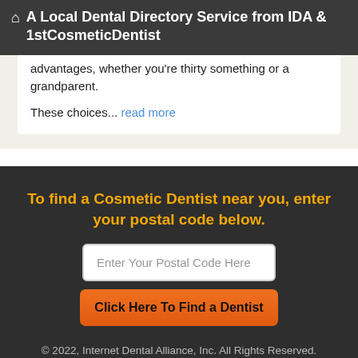A Local Dental Directory Service from IDA & 1stCosmeticDentist
advantages, whether you're thirty something or a grandparent. These choices... read more
To find a Cosmetic Dentist near you, enter your postal code below.
Enter Your Postal Code Here
Click Here To Find a Dentist
© 2022, Internet Dental Alliance, Inc. All Rights Reserved. About Us - Terms of Service Agreement - Privacy Policy - Accessibility Statement - Doctor Registration